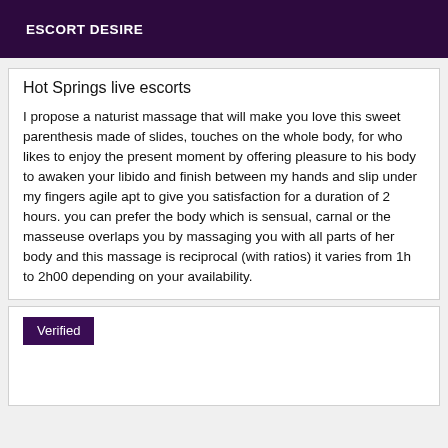ESCORT DESIRE
Hot Springs live escorts
I propose a naturist massage that will make you love this sweet parenthesis made of slides, touches on the whole body, for who likes to enjoy the present moment by offering pleasure to his body to awaken your libido and finish between my hands and slip under my fingers agile apt to give you satisfaction for a duration of 2 hours. you can prefer the body which is sensual, carnal or the masseuse overlaps you by massaging you with all parts of her body and this massage is reciprocal (with ratios) it varies from 1h to 2h00 depending on your availability.
Verified